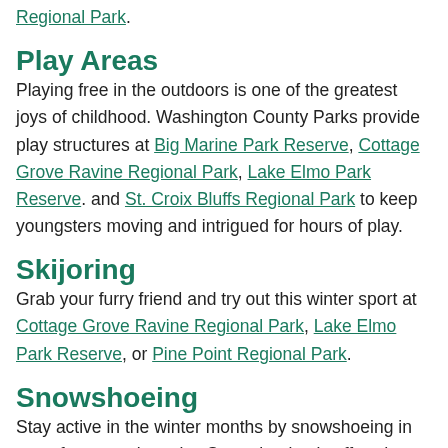Regional Park.
Play Areas
Playing free in the outdoors is one of the greatest joys of childhood. Washington County Parks provide play structures at Big Marine Park Reserve, Cottage Grove Ravine Regional Park, Lake Elmo Park Reserve. and St. Croix Bluffs Regional Park to keep youngsters moving and intrigued for hours of play.
Skijoring
Grab your furry friend and try out this winter sport at Cottage Grove Ravine Regional Park, Lake Elmo Park Reserve, or Pine Point Regional Park.
Snowshoeing
Stay active in the winter months by snowshoeing in one of our scenic parks. Snowshoeing is offered at Big Marine Park Reserve, Cottage Grove Ravine Regional